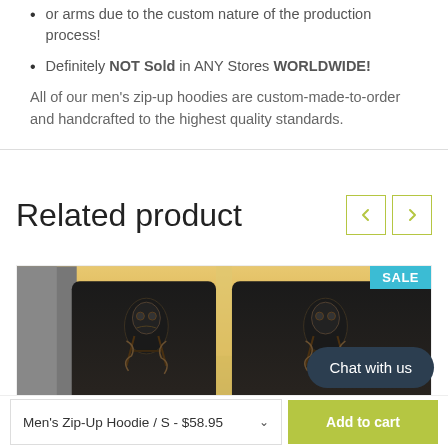or arms due to the custom nature of the production process!
Definitely NOT Sold in ANY Stores WORLDWIDE!
All of our men's zip-up hoodies are custom-made-to-order and handcrafted to the highest quality standards.
Related product
[Figure (photo): Car seat covers featuring a dark robot/Transformers character design on black headrest covers, viewed from inside a car with a golden sunset sky visible through the windshield. A cyan SALE badge is in the top right corner.]
Men's Zip-Up Hoodie / S - $58.95
Add to cart
Chat with us